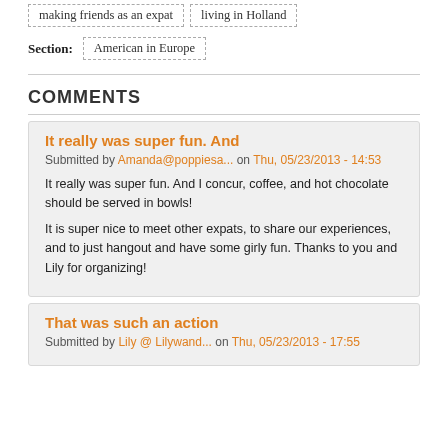making friends as an expat
living in Holland
Section: American in Europe
COMMENTS
It really was super fun. And
Submitted by Amanda@poppiesa... on Thu, 05/23/2013 - 14:53
It really was super fun. And I concur, coffee, and hot chocolate should be served in bowls!
It is super nice to meet other expats, to share our experiences, and to just hangout and have some girly fun. Thanks to you and Lily for organizing!
That was such an action
Submitted by Lily @ Lilywand... on Thu, 05/23/2013 - 17:55